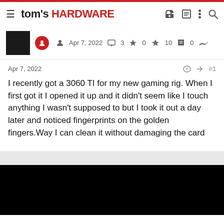tom's HARDWARE
Apr 7, 2022   3   0   10   0
Apr 7, 2022   #1
I recently got a 3060 TI for my new gaming rig. When I first got it I opened it up and it didn't seem like I touch anything I wasn't supposed to but I took it out a day later and noticed fingerprints on the golden fingers.Way I can clean it without damaging the card
[Figure (screenshot): Black rectangle representing a blacked-out/censored image area]